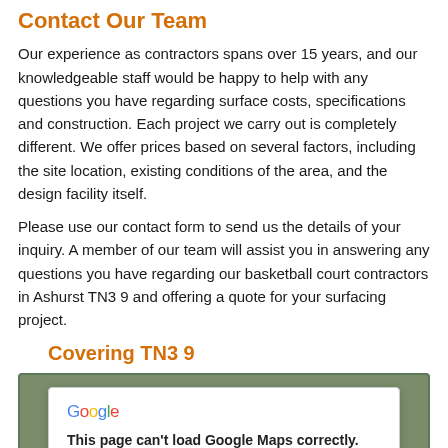Contact Our Team
Our experience as contractors spans over 15 years, and our knowledgeable staff would be happy to help with any questions you have regarding surface costs, specifications and construction. Each project we carry out is completely different. We offer prices based on several factors, including the site location, existing conditions of the area, and the design facility itself.
Please use our contact form to send us the details of your inquiry. A member of our team will assist you in answering any questions you have regarding our basketball court contractors in Ashurst TN3 9 and offering a quote for your surfacing project.
Covering TN3 9
[Figure (screenshot): Google Maps embed showing an error dialog: 'This page can't load Google Maps correctly.' with an OK button and a 'Do you own this website?' prompt, overlaid on a map background.]